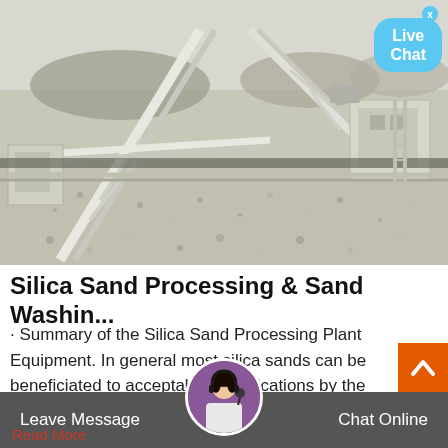[Figure (photo): Aerial/ground-level view of a silica sand processing and washing plant with conveyor belts, machinery, and gravel piles on an industrial site.]
Silica Sand Processing & Sand Washin...
· Summary of the Silica Sand Processing Plant Equipment. In general most silica sands can be beneficiated to acceptable specifications by the flowsheet illustrated. Reagent cost for flotation is low, being in the order of 5 cents per ton of sand treat
Read More